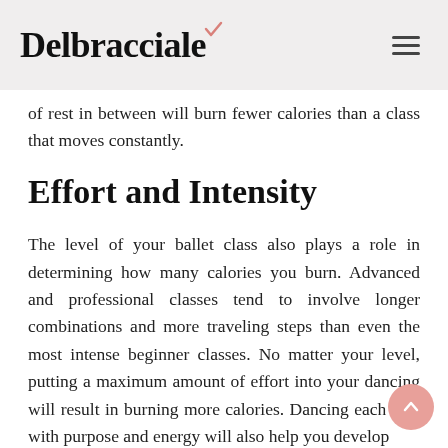Delbracciale
of rest in between will burn fewer calories than a class that moves constantly.
Effort and Intensity
The level of your ballet class also plays a role in determining how many calories you burn. Advanced and professional classes tend to involve longer combinations and more traveling steps than even the most intense beginner classes. No matter your level, putting a maximum amount of effort into your dancing will result in burning more calories. Dancing each step with purpose and energy will also help you develop